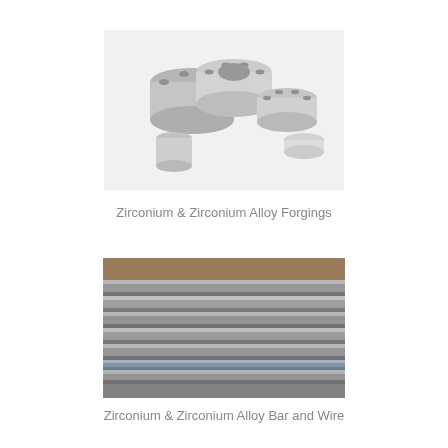[Figure (photo): Photo of zirconium and zirconium alloy forgings — multiple metallic flanged cylindrical components arranged together on a white background]
Zirconium & Zirconium Alloy Forgings
[Figure (photo): Photo of zirconium and zirconium alloy bar and wire — multiple parallel metallic rods/bars arranged horizontally, showing shiny metallic surface with parallel grooves]
Zirconium & Zirconium Alloy Bar and Wire